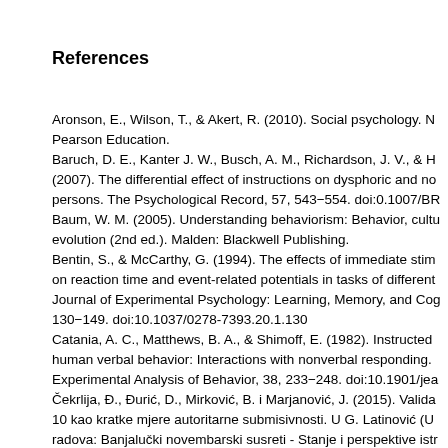References
Aronson, E., Wilson, T., & Akert, R. (2010). Social psychology. N… Pearson Education.
Baruch, D. E., Kanter J. W., Busch, A. M., Richardson, J. V., & H… (2007). The differential effect of instructions on dysphoric and no… persons. The Psychological Record, 57, 543–554. doi:0.1007/BR…
Baum, W. M. (2005). Understanding behaviorism: Behavior, cultu… evolution (2nd ed.). Malden: Blackwell Publishing.
Bentin, S., & McCarthy, G. (1994). The effects of immediate stim… on reaction time and event-related potentials in tasks of different… Journal of Experimental Psychology: Learning, Memory, and Cog… 130–149. doi:10.1037/0278-7393.20.1.130
Catania, A. C., Matthews, B. A., & Shimoff, E. (1982). Instructed … human verbal behavior: Interactions with nonverbal responding. … Experimental Analysis of Behavior, 38, 233–248. doi:10.1901/jea…
Čekrlija, Đ., Đurić, D., Mirković, B. i Marjanović, J. (2015). Valida… 10 kao kratke mjere autoritarne submisivnosti. U G. Latinović (U… radova: Banjalučki novembarski susreti - Stanje i perspektive istr… humanističkim i društvenim naukama (str. 567–586). Banja Luka…